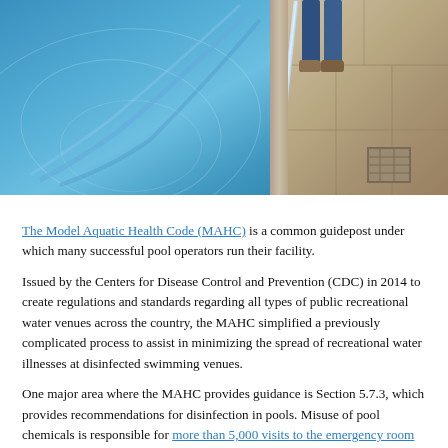[Figure (photo): A swimming pool being cleaned by someone standing on the pool deck. The left portion shows bright blue pool water with ripples/hose patterns. The right side shows a tiled pool deck with a drain cover and a person's legs/boots visible at the top right. A cleaning pole or hose extends from the person into the water.]
The Model Aquatic Health Code (MAHC) is a common guidepost under which many successful pool operators run their facility.
Issued by the Centers for Disease Control and Prevention (CDC) in 2014 to create regulations and standards regarding all types of public recreational water venues across the country, the MAHC simplified a previously complicated process to assist in minimizing the spread of recreational water illnesses at disinfected swimming venues.
One major area where the MAHC provides guidance is Section 5.7.3, which provides recommendations for disinfection in pools. Misuse of pool chemicals is responsible for more than 5,000 visits to the emergency room each year and can cause irritation of a